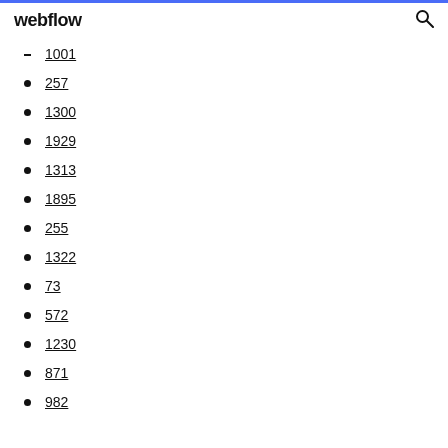webflow
1001
257
1300
1929
1313
1895
255
1322
73
572
1230
871
982